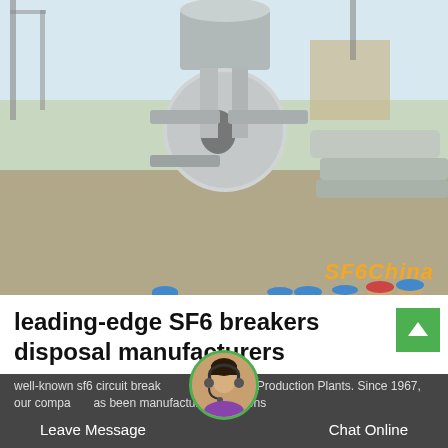[Figure (photo): Workers in blue overalls and hard hats working on large industrial SF6 circuit breaker equipment at an outdoor electrical substation. Several workers visible, one in yellow safety vest. Equipment is large grey cylindrical SF6 breaker. Watermark 'SF6China' in orange bottom right.]
leading-edge SF6 breakers disposal manufacturers
well-known sf6 circuit breaker substation GIS Production Plants. Since 1967, our company has been manufacturing solutions
Leave Message
Chat Online